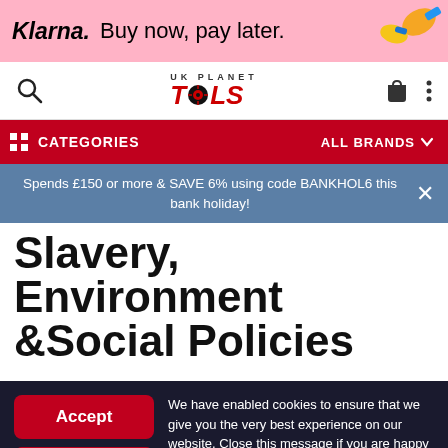[Figure (other): Klarna advertisement banner: pink background with 'Klarna. Buy now, pay later.' text and power tool images]
[Figure (logo): UK Planet Tools logo with search icon, shopping bag icon, and menu dots]
CATEGORIES    ALL BRANDS
Spends £150 or more & SAVE 6% using code BANKHOL6 this bank holiday!
Slavery, Environment &Social Policies
We have enabled cookies to ensure that we give you the very best experience on our website. Close this message if you are happy to receive all cookies on our website or find out more here.